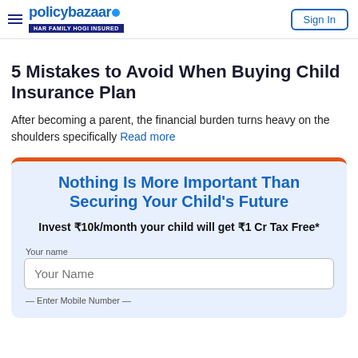PolicyBazaar - HAR FAMILY HOGI INSURED | Sign In
5 Mistakes to Avoid When Buying Child Insurance Plan
After becoming a parent, the financial burden turns heavy on the shoulders specifically Read more
Nothing Is More Important Than Securing Your Child's Future
Invest ₹10k/month your child will get ₹1 Cr Tax Free*
Your name
Enter Mobile Number